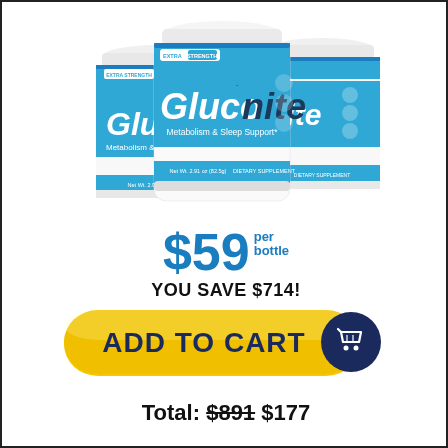[Figure (photo): Three white cylindrical supplement jars labeled 'Gluconite Metabolism & Sleep Support* Extra Strength', Net Wt. 2.91 oz (82.5g), Dietary Supplement, arranged with one in the center front and two behind on each side.]
$59 per bottle
YOU SAVE $714!
[Figure (other): Yellow rounded rectangle button with bold dark navy text 'ADD TO CART' and a dark navy circle with a white shopping cart icon on the right.]
Total: $891 $177